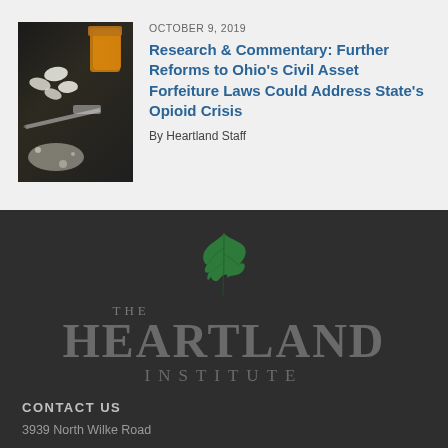[Figure (photo): Photo of drug paraphernalia including pills, a syringe, and white powder on a dark surface with an orange pill bottle]
OCTOBER 9, 2019
Research & Commentary: Further Reforms to Ohio's Civil Asset Forfeiture Laws Could Address State's Opioid Crisis
By Heartland Staff
[Figure (logo): The Heartland Institute logo — green oak leaf above large stylized text reading THE HEARTLAND INSTITUTE in gray on dark background]
CONTACT US
3939 North Wilke Road